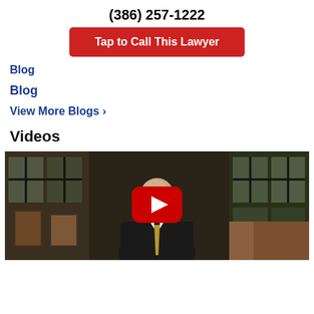(386) 257-1222
Tap to Call This Lawyer
Blog
Blog
View More Blogs ›
Videos
[Figure (photo): Video thumbnail showing a bald man in a suit with a YouTube play button overlay, set in an office or indoor setting with large windows and greenery visible outside.]